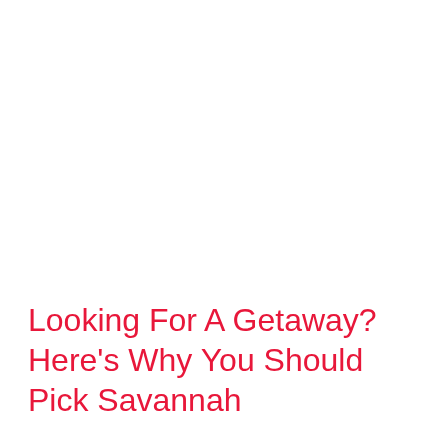Looking For A Getaway? Here's Why You Should Pick Savannah